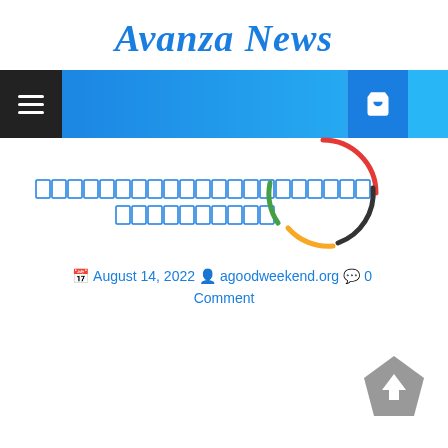Avanza News
[Figure (screenshot): Navigation bar with hamburger menu on left and shopping bag icon buttons on right, blue gradient background]
[Figure (other): Loading spinner with four colored arcs: red, blue/dark, yellow, green arranged in a circular pattern]
[Thai script title text - article headline in Thai language, two lines]
August 14, 2022   agoodweekend.org   0 Comment